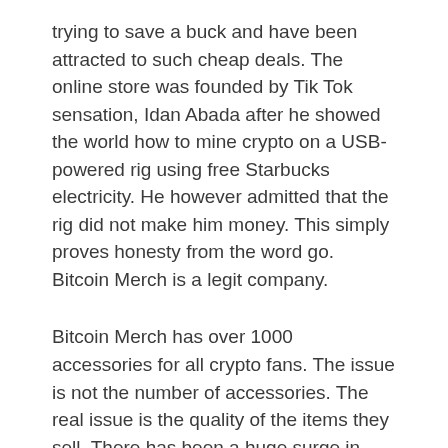trying to save a buck and have been attracted to such cheap deals. The online store was founded by Tik Tok sensation, Idan Abada after he showed the world how to mine crypto on a USB-powered rig using free Starbucks electricity. He however admitted that the rig did not make him money. This simply proves honesty from the word go. Bitcoin Merch is a legit company.
Bitcoin Merch has over 1000 accessories for all crypto fans. The issue is not the number of accessories. The real issue is the quality of the items they sell. There has been a huge surge in customers crowding the site.  Miners have never been this affordable.